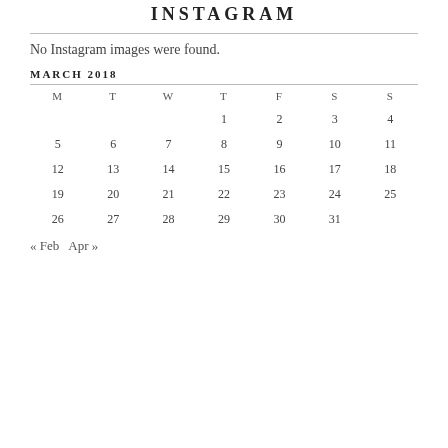INSTAGRAM
No Instagram images were found.
MARCH 2018
| M | T | W | T | F | S | S |
| --- | --- | --- | --- | --- | --- | --- |
|  |  |  | 1 | 2 | 3 | 4 |
| 5 | 6 | 7 | 8 | 9 | 10 | 11 |
| 12 | 13 | 14 | 15 | 16 | 17 | 18 |
| 19 | 20 | 21 | 22 | 23 | 24 | 25 |
| 26 | 27 | 28 | 29 | 30 | 31 |  |
« Feb   Apr »